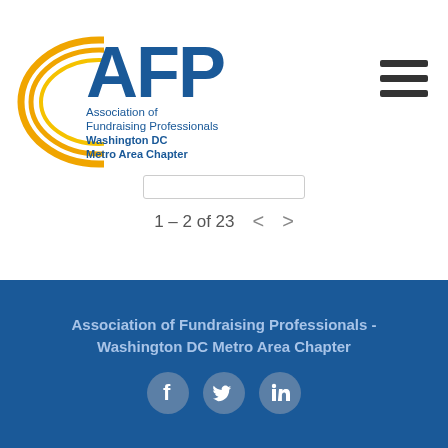[Figure (logo): AFP - Association of Fundraising Professionals Washington DC Metro Area Chapter logo with gold arc swooshes and blue text]
[Figure (other): Hamburger menu icon (three horizontal lines) in top right corner]
1 – 2 of 23
Association of Fundraising Professionals - Washington DC Metro Area Chapter
[Figure (other): Social media icons: Facebook, Twitter, LinkedIn]